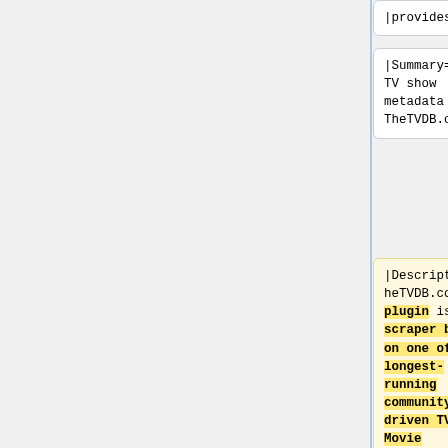|provides=
|provides=
|Summary=Fetch TV show metadata from TheTVDB.com
|Summary=Fetch TV show metadata from TheTVDB.com
|Description=TheTVDB.com plugin is a TV scraper built on one of the longest-running community-driven TV and Movie databases. With
|Description=TheTVDB.com is a TV Scraper. The site is a massive open database that can be modified by anybody and contains full meta data for